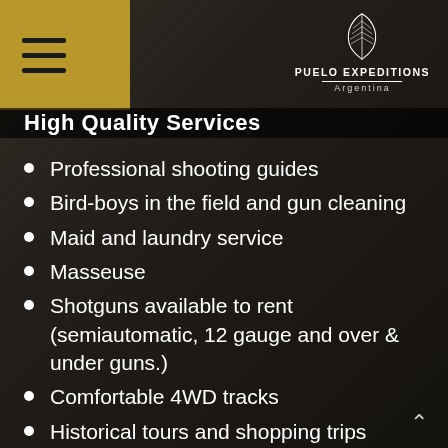[Figure (logo): Puelo Expeditions Argentina logo with feather icon, white text on dark background, located top right]
High Quality Services
Professional shooting guides
Bird-boys in the field and gun cleaning
Maid and laundry service
Masseuse
Shotguns available to rent (semiautomatic, 12 gauge and over & under guns.)
Comfortable 4WD tracks
Historical tours and shopping trips